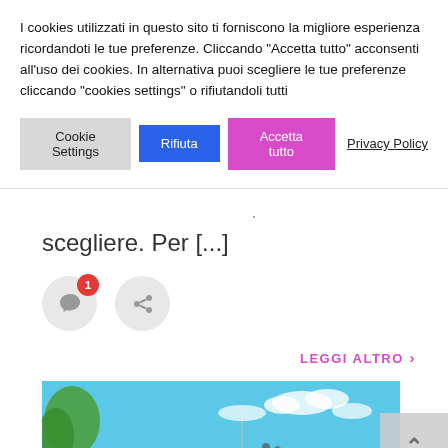I cookies utilizzati in questo sito ti forniscono la migliore esperienza ricordandoti le tue preferenze. Cliccando "Accetta tutto" acconsenti all'uso dei cookies. In alternativa puoi scegliere le tue preferenze cliccando "cookies settings" o rifiutandoli tutti
Cookie Settings | Rifiuta | Accetta tutto | Privacy Policy
.
scegliere. Per [...]
[Figure (other): Two circular social icon buttons: comment icon with red badge showing '1', and share icon]
LEGGI ALTRO >
[Figure (photo): Tropical beach scene with couple, blue sky, umbrella and green trees]